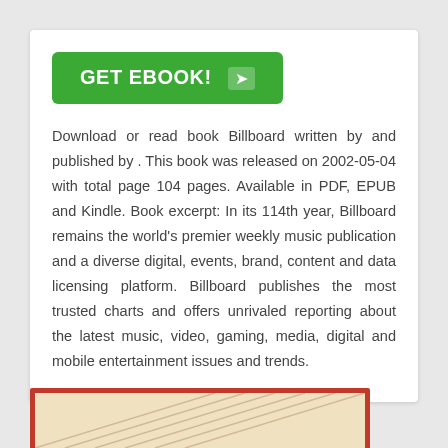[Figure (other): Green 'GET EBOOK!' button with arrow icon]
Download or read book Billboard written by and published by . This book was released on 2002-05-04 with total page 104 pages. Available in PDF, EPUB and Kindle. Book excerpt: In its 114th year, Billboard remains the world's premier weekly music publication and a diverse digital, events, brand, content and data licensing platform. Billboard publishes the most trusted charts and offers unrivaled reporting about the latest music, video, gaming, media, digital and mobile entertainment issues and trends.
[Figure (illustration): Partial view of a red-bordered book cover with cream/beige striped design visible at bottom of page]